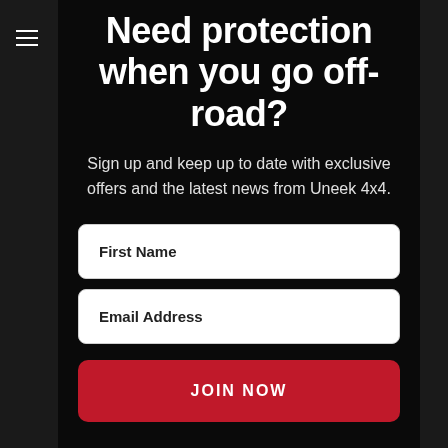Need protection when you go off-road?
Sign up and keep up to date with exclusive offers and the latest news from Uneek 4x4.
First Name
Email Address
JOIN NOW